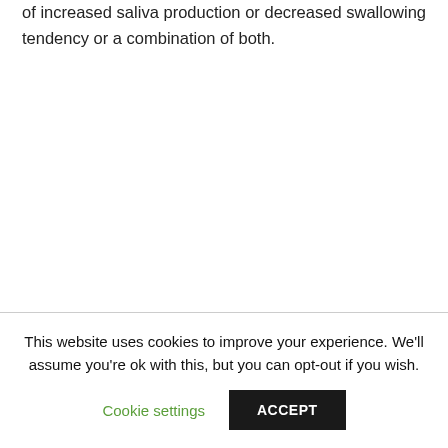a woman will excess saliva in the mouth, it may be because of increased saliva production or decreased swallowing tendency or a combination of both.
This website uses cookies to improve your experience. We'll assume you're ok with this, but you can opt-out if you wish.